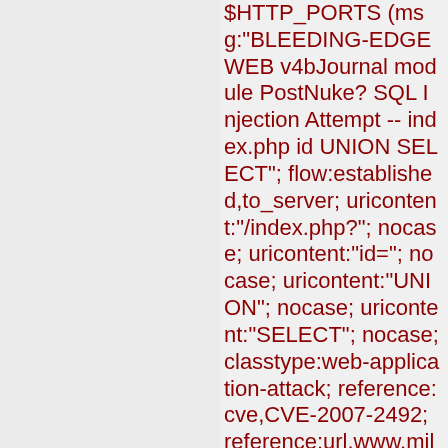$HTTP_PORTS (msg:"BLEEDING-EDGE WEB v4bJournal module PostNuke? SQL Injection Attempt -- index.php id UNION SELECT"; flow:established,to_server; uricontent:"/index.php?"; nocase; uricontent:"id="; nocase; uricontent:"UNION"; nocase; uricontent:"SELECT"; nocase; classtype:web-application-attack; reference:cve,CVE-2007-2492; reference:url,www.milw0r sid:2003800; rev:1;)